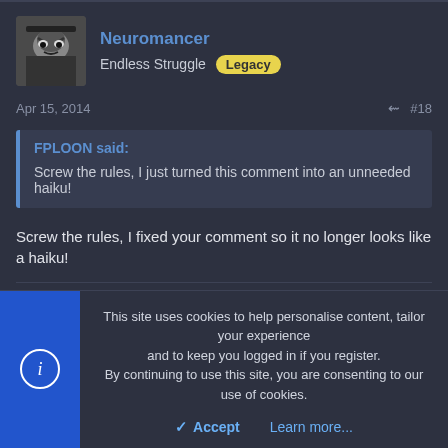Neuromancer
Endless Struggle  Legacy
Apr 15, 2014  #18
FPLOON said:
Screw the rules, I just turned this comment into an unneeded haiku!
Screw the rules, I fixed your comment so it no longer looks like a haiku!
This site uses cookies to help personalise content, tailor your experience and to keep you logged in if you register.
By continuing to use this site, you are consenting to our use of cookies.
Accept   Learn more...